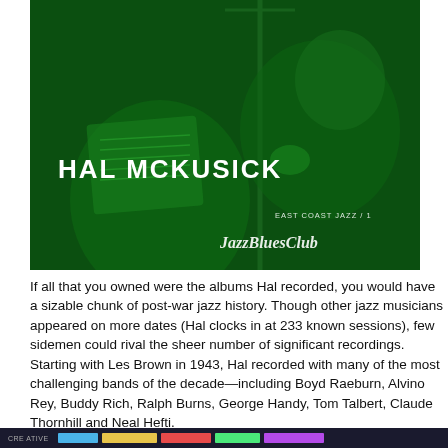[Figure (photo): Album cover for Hal McKusick 'East Coast Jazz' with green-tinted photo of musicians and JazzBluesClub watermark]
If all that you owned were the albums Hal recorded, you would have a sizable chunk of post-war jazz history. Though other jazz musicians appeared on more dates (Hal clocks in at 233 known sessions), few sidemen could rival the sheer number of significant recordings. Starting with Les Brown in 1943, Hal recorded with many of the most challenging bands of the decade—including Boyd Raeburn, Alvino Rey, Buddy Rich, Ralph Burns, George Handy, Tom Talbert, Claude Thornhill and Neal Hefti.
[Figure (screenshot): Bottom strip showing a partial image or bar chart with dark background and colored bars, partially cropped]